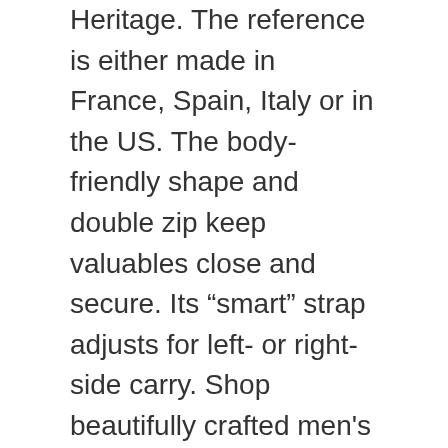Heritage. The reference is either made in France, Spain, Italy or in the US. The body-friendly shape and double zip keep valuables close and secure. Its “smart” strap adjusts for left- or right-side carry. Shop beautifully crafted men's handbags, shoulder bags, sling bags, side bags and waist bags. Extra compact, lightweight and very body-friendly, it's the perfect small bag for the moving man of today. Discover Louis Vuitton Amazone Sling Bag:
Designed for cross-body carry, the sporty Amazone Sling Bag in Giant Damier Ebene canvas with matte black hardware and an adjustable strap is part of Virgil Abloh’s collaboration with Japanese streetwear genius